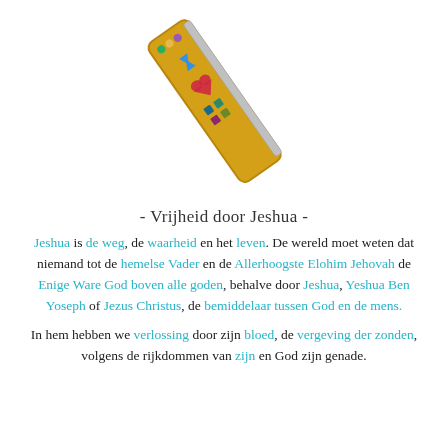[Figure (photo): A decorative jewelled mezuzah or pendant made of gold with colorful gemstones forming a Star of David and other symbols, oriented diagonally.]
- Vrijheid door Jeshua -
Jeshua is de weg, de waarheid en het leven. De wereld moet weten dat niemand tot de hemelse Vader en de Allerhoogste Elohim Jehovah de Enige Ware God boven alle goden, behalve door Jeshua, Yeshua Ben Yoseph of Jezus Christus, de bemiddelaar tussen God en de mens.
In hem hebben we verlossing door zijn bloed, de vergeving der zonden, volgens de rijkdommen van zijn en God zijn genade.